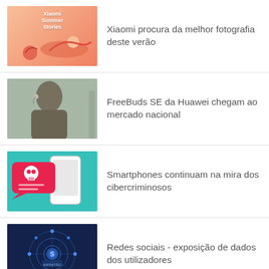Xiaomi procura da melhor fotografia deste verão
FreeBuds SE da Huawei chegam ao mercado nacional
Smartphones continuam na mira dos cibercriminosos
Redes sociais - exposição de dados dos utilizadores
Últimas